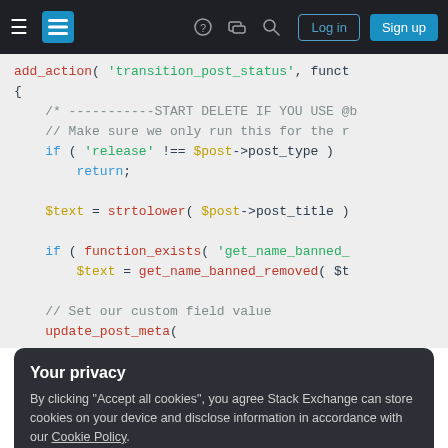Stack Exchange navigation bar with hamburger menu, logo, help, chat, search icons, Log in and Sign up buttons
[Figure (screenshot): Code editor screenshot showing PHP code with syntax highlighting. Code includes add_action('transition_post_status', function, if check for 'release' !== $post->post_type with return, $text = strtolower($post->post_title), if function_exists('get_name_banned_', $text = get_name_banned_removed($t, comment Set our custom field value, update_post_meta(]
Your privacy
By clicking "Accept all cookies", you agree Stack Exchange can store cookies on your device and disclose information in accordance with our Cookie Policy.
Accept all cookies
Customize settings
[Figure (screenshot): Bottom partial code line: // Delete the transients]